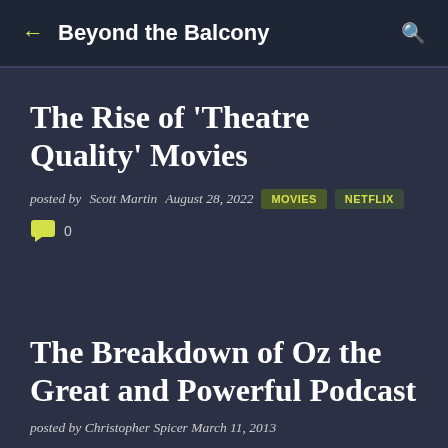Beyond the Balcony
The Rise of 'Theatre Quality' Movies
posted by Scott Martin August 28, 2022  MOVIES  NETFLIX
0
The Breakdown of Oz the Great and Powerful Podcast
posted by Christopher Spicer March 11, 2013